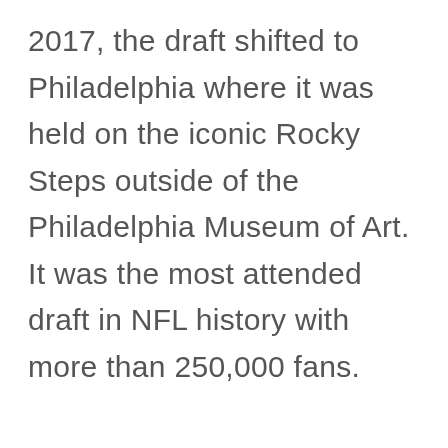2017, the draft shifted to Philadelphia where it was held on the iconic Rocky Steps outside of the Philadelphia Museum of Art. It was the most attended draft in NFL history with more than 250,000 fans.